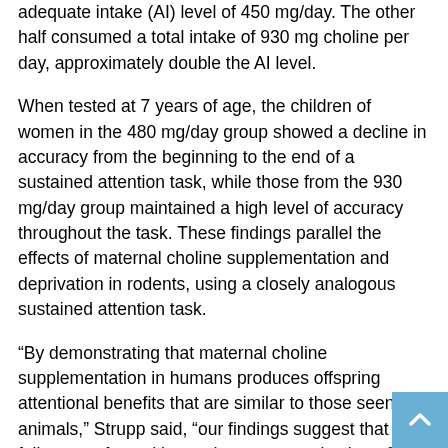adequate intake (AI) level of 450 mg/day. The other half consumed a total intake of 930 mg choline per day, approximately double the AI level.
When tested at 7 years of age, the children of women in the 480 mg/day group showed a decline in accuracy from the beginning to the end of a sustained attention task, while those from the 930 mg/day group maintained a high level of accuracy throughout the task. These findings parallel the effects of maternal choline supplementation and deprivation in rodents, using a closely analogous sustained attention task.
“By demonstrating that maternal choline supplementation in humans produces offspring attentional benefits that are similar to those seen in animals,” Strupp said, “our findings suggest that the full range of cognitive and neuroprotective benefits demonstrated in rodents may also be seen in humans.”